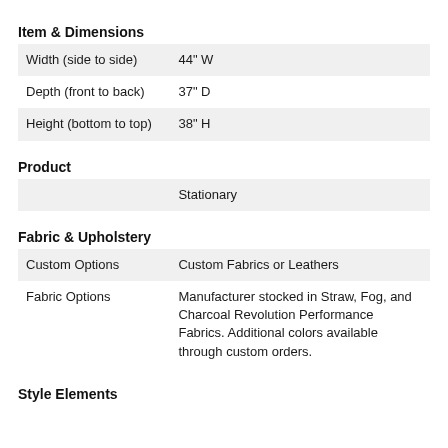Item & Dimensions
| Width (side to side) | 44" W |
| Depth (front to back) | 37" D |
| Height (bottom to top) | 38" H |
Product
|  | Stationary |
Fabric & Upholstery
| Custom Options | Custom Fabrics or Leathers |
| Fabric Options | Manufacturer stocked in Straw, Fog, and Charcoal Revolution Performance Fabrics. Additional colors available through custom orders. |
Style Elements